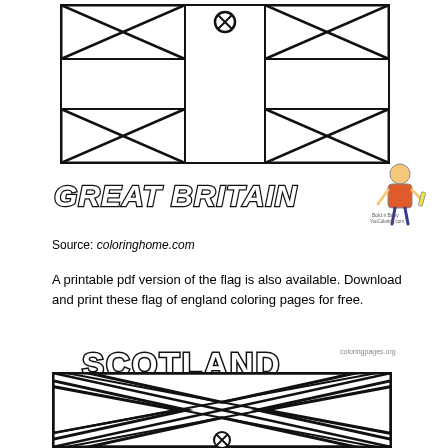[Figure (illustration): Outline coloring page of the Great Britain (Union Jack) flag, uncolored, with black lines on white background. Shows diagonal and horizontal/vertical stripe pattern with a circle/dot element at top center.]
GREAT BRITAIN
[Figure (illustration): Small mascot character illustration - cartoon boy figure with pencil, labeled Bold n Busy YouColoring.com]
Source: coloringhome.com
A printable pdf version of the flag is also available. Download and print these flag of england coloring pages for free.
SCOTLAND
[Figure (illustration): Outline coloring page of the Scotland flag (Saltire / St Andrew's Cross), uncolored, showing diagonal X cross pattern with a circle/dot at bottom center.]